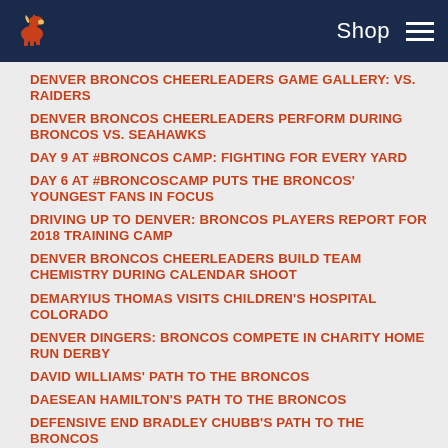Denver Broncos — Shop [hamburger menu]
DENVER BRONCOS CHEERLEADERS GAME GALLERY: VS. RAIDERS
DENVER BRONCOS CHEERLEADERS PERFORM DURING BRONCOS VS. SEAHAWKS
DAY 9 AT #BRONCOS CAMP: FIGHTING FOR EVERY YARD
DAY 6 AT #BRONCOSCAMP PUTS THE BRONCOS' YOUNGEST FANS IN FOCUS
DRIVING UP TO DENVER: BRONCOS PLAYERS REPORT FOR 2018 TRAINING CAMP
DENVER BRONCOS CHEERLEADERS BUILD TEAM CHEMISTRY DURING CALENDAR SHOOT
DEMARYIUS THOMAS VISITS CHILDREN'S HOSPITAL COLORADO
DENVER DINGERS: BRONCOS COMPETE IN CHARITY HOME RUN DERBY
DAVID WILLIAMS' PATH TO THE BRONCOS
DAESEAN HAMILTON'S PATH TO THE BRONCOS
DEFENSIVE END BRADLEY CHUBB'S PATH TO THE BRONCOS
DBC NIKKI'S CALENDAR SHOOT
DBC GIOIA'S PROTOUR VISIT TO CURACAO, THE BAHAMAS AND CUBA
DENVER BRONCOS CHEERLEADERS HOST FINAL AUDITIONS
DBC BRIELLE AND MCKENNA VISIT AIR FORCE BASES IN SOUTH KOREA
DENVER BRONCOS CHEERLEADERS HOST WORKSHOP FOR 2018 FINALISTS